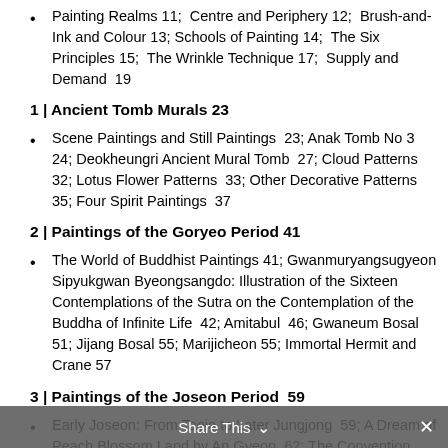Painting Realms 11;  Centre and Periphery 12;  Brush-and-Ink and Colour 13; Schools of Painting 14;  The Six Principles 15;  The Wrinkle Technique 17;  Supply and Demand  19
1 | Ancient Tomb Murals 23
Scene Paintings and Still Paintings  23; Anak Tomb No 3 24; Deokheungri Ancient Mural Tomb  27; Cloud Patterns 32; Lotus Flower Patterns  33; Other Decorative Patterns 35; Four Spirit Paintings  37
2 | Paintings of the Goryeo Period 41
The World of Buddhist Paintings 41; Gwanmuryangsugyeon Sipyukgwan Byeongsangdo: Illustration of the Sixteen Contemplations of the Sutra on the Contemplation of the Buddha of Infinite Life  42; Amitabul  46; Gwaneum Bosal 51; Jijang Bosal 55; Marijicheon 55; Immortal Hermit and Crane 57
3 | Paintings of the Joseon Period  59
Early Joseon: From Taejo to Later Jungjong  59; A Dream of Peach Blossom Land by An Gyeon  62; The Convention of the...